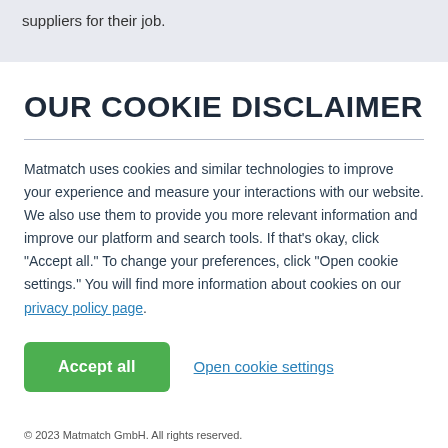suppliers for their job.
OUR COOKIE DISCLAIMER
Matmatch uses cookies and similar technologies to improve your experience and measure your interactions with our website. We also use them to provide you more relevant information and improve our platform and search tools. If that's okay, click “Accept all.” To change your preferences, click “Open cookie settings.” You will find more information about cookies on our privacy policy page.
Accept all
Open cookie settings
© 2023 Matmatch GmbH. All rights reserved.